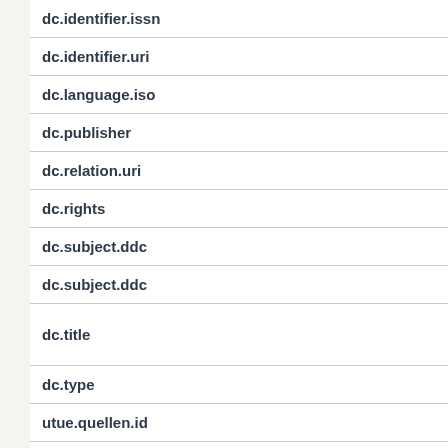| dc.identifier.issn |
| dc.identifier.uri |
| dc.language.iso |
| dc.publisher |
| dc.relation.uri |
| dc.rights |
| dc.subject.ddc |
| dc.subject.ddc |
| dc.title |
| dc.type |
| utue.quellen.id |
| utue.publikation.seiten |
| utue.personen.roh |
| utue.personen.roh |